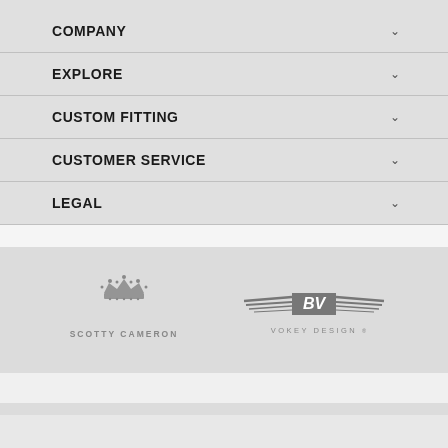COMPANY
EXPLORE
CUSTOM FITTING
CUSTOMER SERVICE
LEGAL
[Figure (logo): Scotty Cameron brand logo with crown icon and text SCOTTY CAMERON in gray]
[Figure (logo): Vokey Design BV logo with wings and text VOKEY DESIGN in gray]